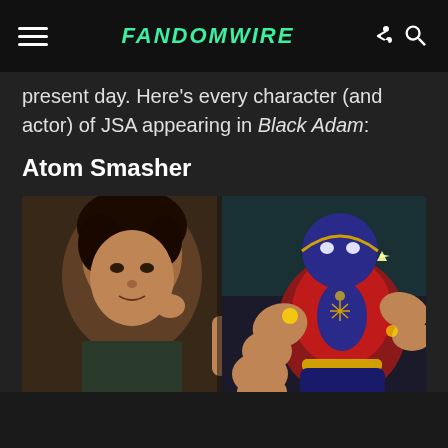FANDOMWIRE
present day. Here's every character (and actor) of JSA appearing in Black Adam:
Atom Smasher
[Figure (photo): Split image showing a young male actor on the left with curly dark hair wearing a dark shirt, and on the right a comic book illustration of Atom Smasher, a large muscular superhero in a blue helmet and red-and-blue costume with golden glowing accents, raising a fist.]